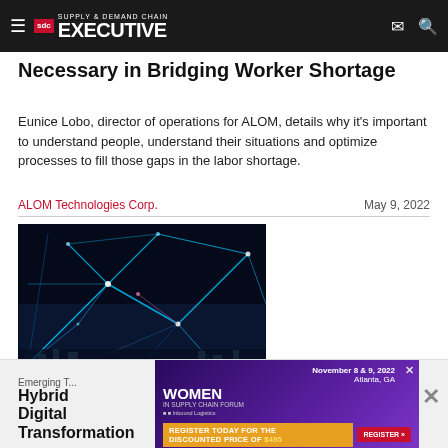SDC Supply & Demand Chain Executive
Necessary in Bridging Worker Shortage
Eunice Lobo, director of operations for ALOM, details why it's important to understand people, understand their situations and optimize processes to fill those gaps in the labor shortage.
ALOM Technologies Corp.    May 9, 2022
[Figure (photo): Abstract network/data visualization with glowing blue lines on dark background]
Emerging T...
Hybrid ... Digital Transformation
[Figure (other): Advertisement for Women in Supply Chain Forum, November 8 & 9, 2022, Atlanta, GA. Register today for the discounted price of $495.]